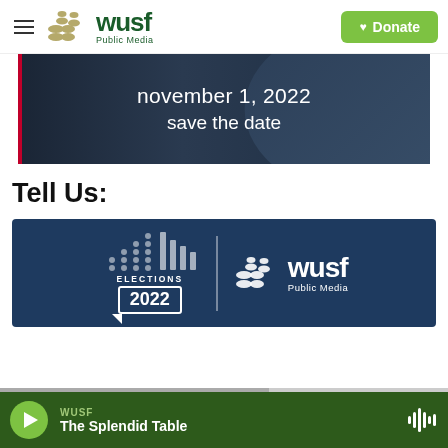WUSF Public Media — Donate
[Figure (photo): Dark photo of a person in a blue blazer with text overlay: 'november 1, 2022 save the date']
Tell Us:
[Figure (logo): Elections 2022 | WUSF Public Media logo on dark navy background]
WUSF — The Splendid Table (audio player)